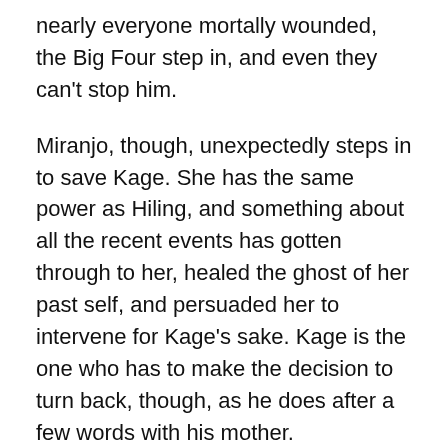nearly everyone mortally wounded, the Big Four step in, and even they can't stop him.
Miranjo, though, unexpectedly steps in to save Kage. She has the same power as Hiling, and something about all the recent events has gotten through to her, healed the ghost of her past self, and persuaded her to intervene for Kage's sake. Kage is the one who has to make the decision to turn back, though, as he does after a few words with his mother.
Meanwhile, the playback of Bosse's memories concludes with him going mad and killing Gyakuzans indiscriminately after discovering what they had done to Miranjo. There's a big missing piece, though. Miranjo's memory of the Gyakuzans told Bosse that they attributed her sacrifice—